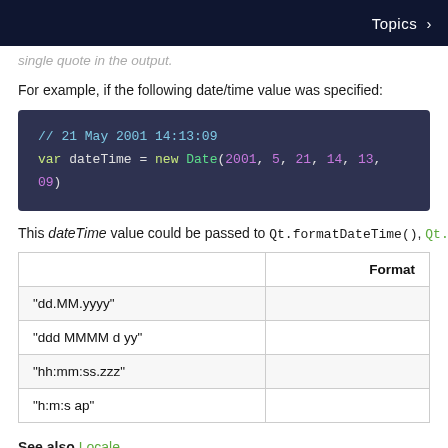Topics >
single quote in the output.
For example, if the following date/time value was specified:
[Figure (screenshot): Code block showing: // 21 May 2001 14:13:09
var dateTime = new Date(2001, 5, 21, 14, 13, 09)]
This dateTime value could be passed to Qt.formatDateTime(), Qt.form
|  | Format |
| --- | --- |
| "dd.MM.yyyy" |  |
| "ddd MMMM d yy" |  |
| "hh:mm:ss.zzz" |  |
| "h:m:s ap" |  |
See also Locale.